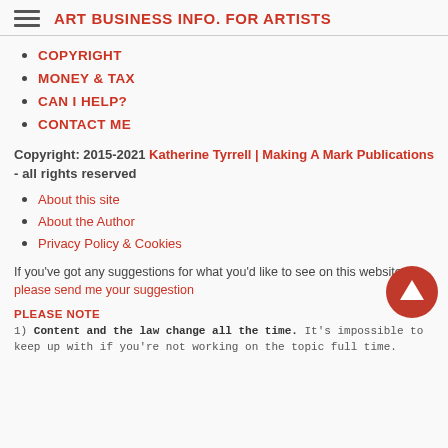ART BUSINESS INFO. FOR ARTISTS
COPYRIGHT
MONEY & TAX
CAN I HELP?
CONTACT ME
Copyright: 2015-2021 Katherine Tyrrell | Making A Mark Publications - all rights reserved
About this site
About the Author
Privacy Policy & Cookies
If you've got any suggestions for what you'd like to see on this website please send me your suggestion
PLEASE NOTE
1) Content and the law change all the time. It's impossible to keep up with if you're not working on the topic full time.